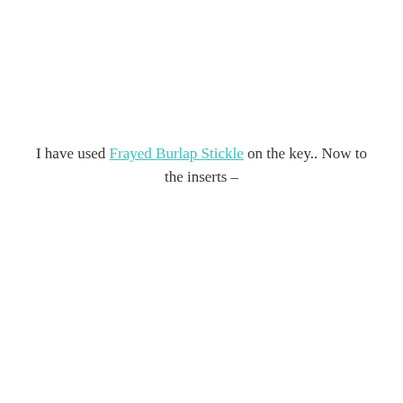I have used Frayed Burlap Stickle on the key.. Now to the inserts –